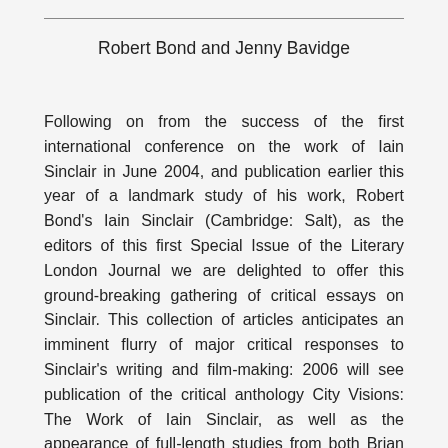Robert Bond and Jenny Bavidge
Following on from the success of the first international conference on the work of Iain Sinclair in June 2004, and publication earlier this year of a landmark study of his work, Robert Bond's Iain Sinclair (Cambridge: Salt), as the editors of this first Special Issue of the Literary London Journal we are delighted to offer this ground-breaking gathering of critical essays on Sinclair. This collection of articles anticipates an imminent flurry of major critical responses to Sinclair's writing and film-making: 2006 will see publication of the critical anthology City Visions: The Work of Iain Sinclair, as well as the appearance of full-length studies from both Brian Baker (for MUP) and Robert Sheppard (for Writers